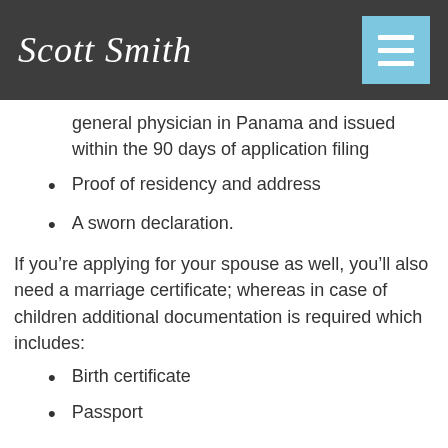Scott Smith
general physician in Panama and issued within the 90 days of application filing
Proof of residency and address
A sworn declaration.
If you’re applying for your spouse as well, you’ll also need a marriage certificate; whereas in case of children additional documentation is required which includes:
Birth certificate
Passport